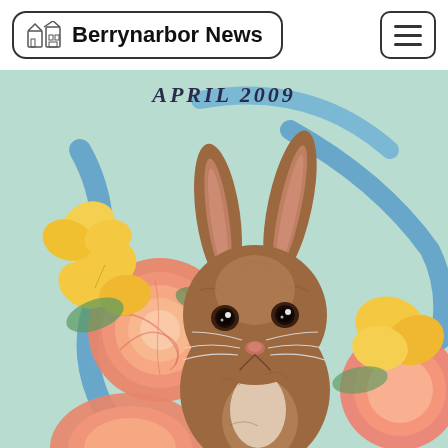Berrynarbor News
[Figure (illustration): Illustrated cover page showing a brown rabbit surrounded by orange, yellow and peach flowers (ranunculus and pansies) with blue ribbon decorations on a mint green background. Text at top reads 'APRIL 2009'.]